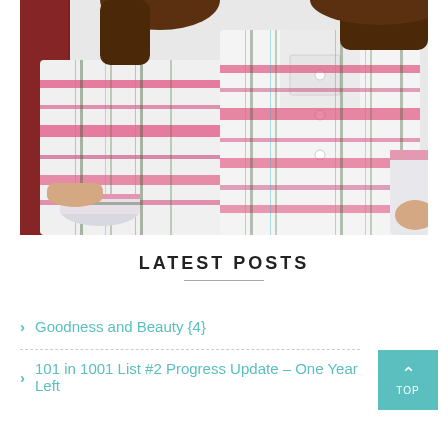[Figure (photo): Two women wearing matching pink and white plaid flannel shirts, photographed from the torso down, in front of a rustic red background.]
LATEST POSTS
Goodness and Beauty {4}
101 in 1001 List #2 Progress Update – One Year Left